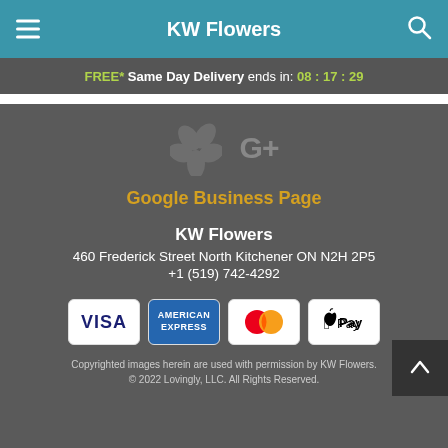KW Flowers
FREE* Same Day Delivery ends in: 08 : 17 : 29
[Figure (logo): Yelp and Google+ social media icons in grey]
Google Business Page
KW Flowers
460 Frederick Street North Kitchener ON N2H 2P5
+1 (519) 742-4292
[Figure (logo): Payment method icons: Visa, American Express, Mastercard, Apple Pay]
Copyrighted images herein are used with permission by KW Flowers.
© 2022 Lovingly, LLC. All Rights Reserved.